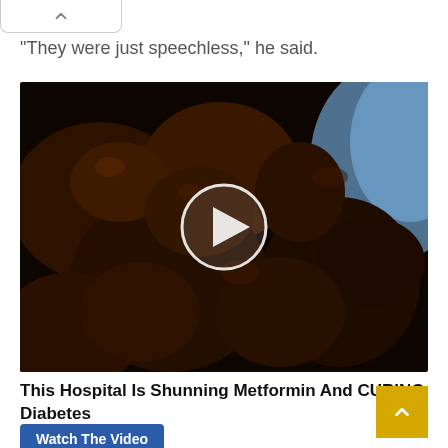“They were just speechless,” he said.
[Figure (photo): Video thumbnail showing dark dried fruits/prunes with a white play button circle overlay in the center. Blue-gloved hand visible in top right corner.]
This Hospital Is Shunning Metformin And CURING Diabetes
Watch The Video
[Figure (photo): Partial image at bottom showing a woman with brown hair and a man wearing a green hat, outdoors with green foliage in background. Partial white circle overlay visible.]